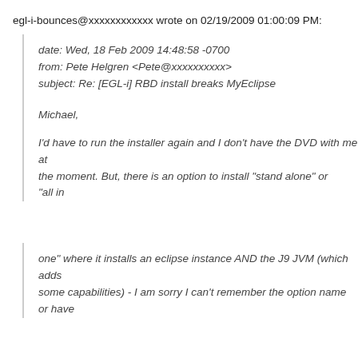egl-i-bounces@xxxxxxxxxxxx wrote on 02/19/2009 01:00:09 PM:
date: Wed, 18 Feb 2009 14:48:58 -0700
from: Pete Helgren <Pete@xxxxxxxxxx>
subject: Re: [EGL-i] RBD install breaks MyEclipse
Michael,
I'd have to run the installer again and I don't have the DVD with me at
the moment. But, there is an option to install "stand alone" or "all in
one" where it installs an eclipse instance AND the J9 JVM (which adds
some capabilities) - I am sorry I can't remember the option name or have